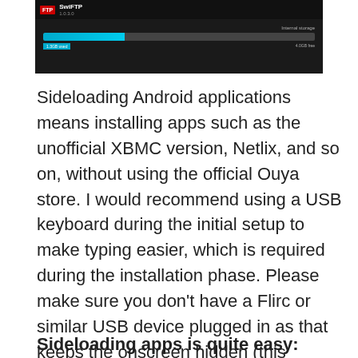[Figure (screenshot): Screenshot of SwiFTP app showing internal storage usage bar with blue filled portion and storage labels]
Sideloading Android applications means installing apps such as the unofficial XBMC version, Netlix, and so on, without using the official Ouya store. I would recommend using a USB keyboard during the initial setup to make typing easier, which is required during the installation phase. Please make sure you don’t have a Flirc or similar USB device plugged in as that keeps the onscreen hidden (this happened to me as I wondered why the keyboard was hidden). If you are using a USB keyboard, this obviously won’t be an issue.
Sideloading apps is quite easy: